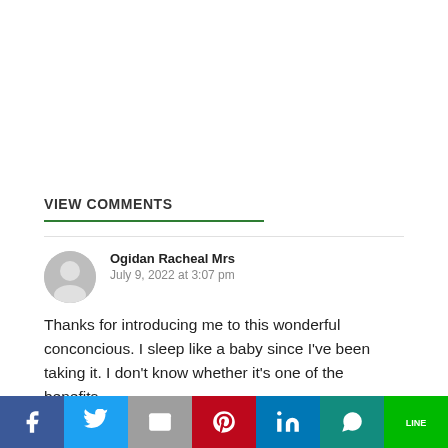VIEW COMMENTS
Ogidan Racheal Mrs
July 9, 2022 at 3:07 pm
Thanks for introducing me to this wonderful conconcious. I sleep like a baby since I've been taking it. I don't know whether it's one of the benefits.
Udomoh Eshemokha
July 10, 2022 at 10:18 pm